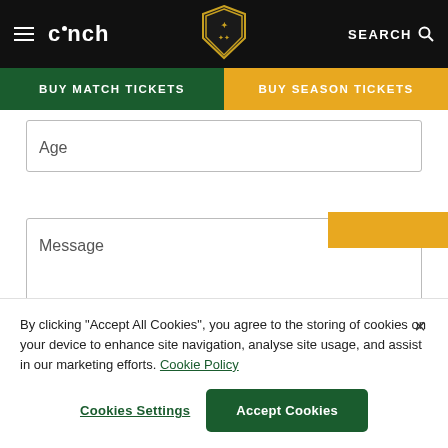cinch | BUY MATCH TICKETS | BUY SEASON TICKETS
Age
Message
By clicking “Accept All Cookies”, you agree to the storing of cookies on your device to enhance site navigation, analyse site usage, and assist in our marketing efforts. Cookie Policy
Cookies Settings
Accept Cookies